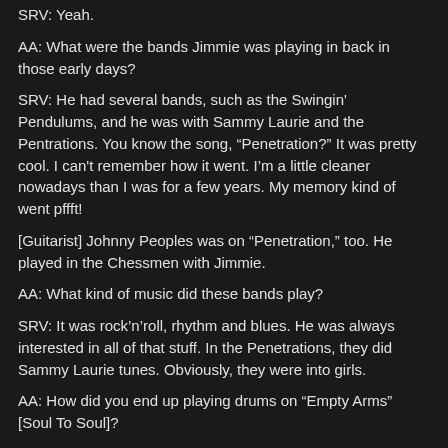SRV: Yeah.
AA: What were the bands Jimmie was playing in back in those early days?
SRV: He had several bands, such as the Swingin' Pendulums, and he was with Sammy Laurie and the Pentrations. You know the song, “Penetration?” It was pretty cool. I can’t remember how it went. I’m a little cleaner nowadays than I was for a few years. My memory kind of went pffft!
[Guitarist] Johnny Peoples was on “Penetration,” too. He played in the Chessmen with Jimmie.
AA: What kind of music did these bands play?
SRV: It was rock’n’roll, rhythm and blues. He was always interested in all of that stuff. In the Penetrations, they did Sammy Laurie tunes. Obviously, they were into girls.
AA: How did you end up playing drums on “Empty Arms” [Soul To Soul]?
SRV: I wanted to!